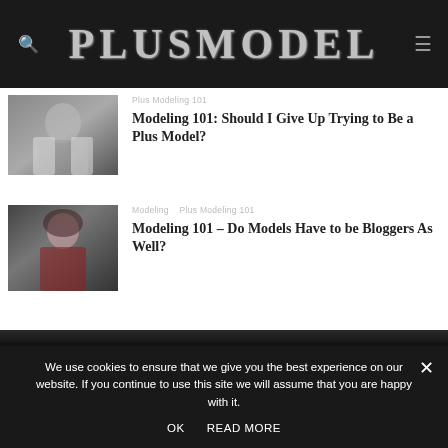PLUSMODEL
[Figure (photo): Plus model wearing a white jacket and patterned top, posed outdoors]
Plus Modeling 101
Modeling 101: Should I Give Up Trying to Be a Plus Model?
[Figure (photo): Plus model wearing a red dress, posed indoors with dramatic expression]
Modeling   Plus Modeling 101
Modeling 101 – Do Models Have to be Bloggers As Well?
We use cookies to ensure that we give you the best experience on our website. If you continue to use this site we will assume that you are happy with it.
OK   READ MORE